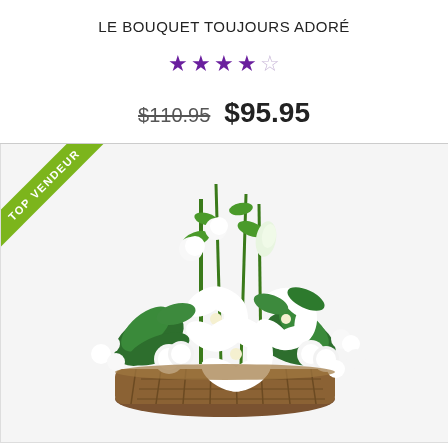LE BOUQUET TOUJOURS ADORÉ
★★★★☆ (4 out of 5 stars)
$110.95  $95.95
[Figure (photo): A floral arrangement of white lilies, white carnations, and green ferns arranged in a wicker basket. A green diagonal banner in the top-left corner reads TOP VENDEUR.]